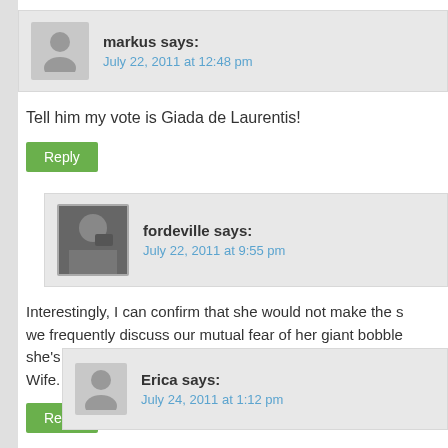markus says:
July 22, 2011 at 12:48 pm
Tell him my vote is Giada de Laurentis!
Reply
fordeville says:
July 22, 2011 at 9:55 pm
Interestingly, I can confirm that she would not make the s... we frequently discuss our mutual fear of her giant bobble... she's known as Big Head Giada here. So we have to find... Wife. With a normal head.
Reply
Erica says:
July 24, 2011 at 1:12 pm